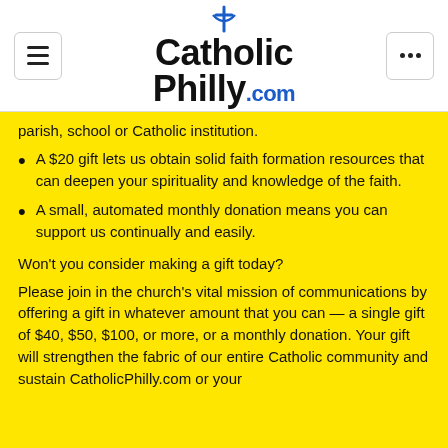CatholicPhilly.com
parish, school or Catholic institution.
A $20 gift lets us obtain solid faith formation resources that can deepen your spirituality and knowledge of the faith.
A small, automated monthly donation means you can support us continually and easily.
Won't you consider making a gift today?
Please join in the church's vital mission of communications by offering a gift in whatever amount that you can — a single gift of $40, $50, $100, or more, or a monthly donation. Your gift will strengthen the fabric of our entire Catholic community and sustain CatholicPhilly.com or your